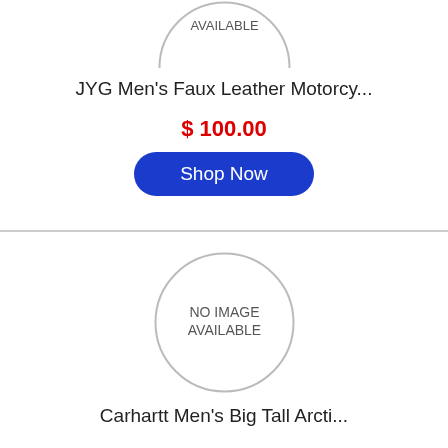[Figure (other): Partial circle placeholder image showing 'NO IMAGE AVAILABLE' text, cropped at top]
JYG Men's Faux Leather Motorcy...
$ 100.00
Shop Now
[Figure (other): Full circle placeholder image showing 'NO IMAGE AVAILABLE' text]
Carhartt Men's Big Tall Arcti...